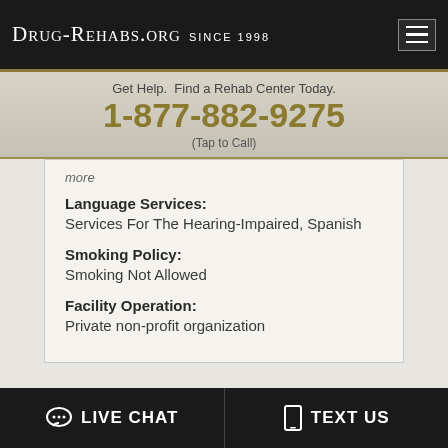Drug-Rehabs.org Since 1998
Get Help. Find a Rehab Center Today.
1-877-882-9275
(Tap to Call)
more
Language Services:
Services For The Hearing-Impaired, Spanish
Smoking Policy:
Smoking Not Allowed
Facility Operation:
Private non-profit organization
LIVE CHAT   TEXT US